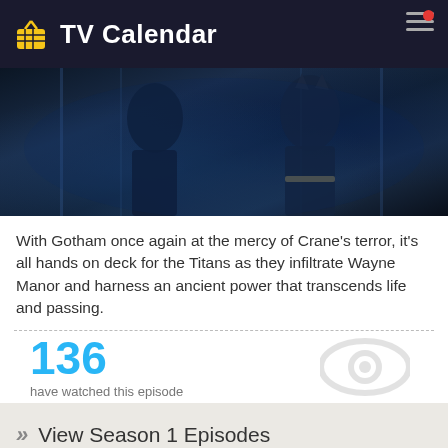TV Calendar
[Figure (photo): Dark scene showing superhero figures in costumes against a blue-tinted industrial background]
With Gotham once again at the mercy of Crane's terror, it's all hands on deck for the Titans as they infiltrate Wayne Manor and harness an ancient power that transcends life and passing.
136
have watched this episode
View Season 1 Episodes
View Season 2 Episodes